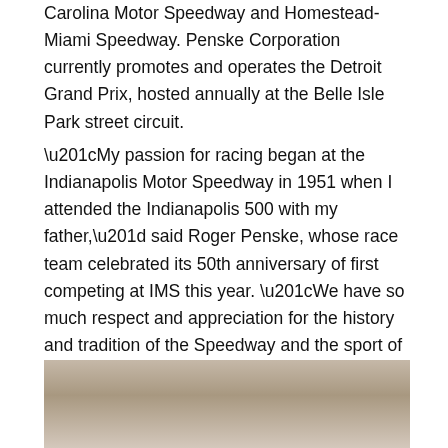Carolina Motor Speedway and Homestead-Miami Speedway. Penske Corporation currently promotes and operates the Detroit Grand Prix, hosted annually at the Belle Isle Park street circuit.
“My passion for racing began at the Indianapolis Motor Speedway in 1951 when I attended the Indianapolis 500 with my father,” said Roger Penske, whose race team celebrated its 50th anniversary of first competing at IMS this year. “We have so much respect and appreciation for the history and tradition of the Speedway and the sport of IndyCar racing. I want to thank Hulman & Company for the opportunity to build on this legacy and it will be an honor for Penske Corporation to help lead these great institutions forward into a new era.”
[Figure (photo): Partial photo of a person, cropped at the bottom of the page, visible from approximately the chest up against a neutral background.]